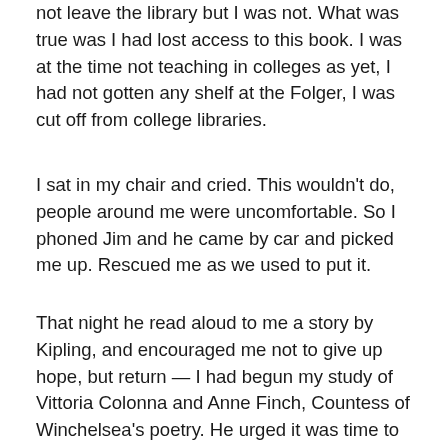not leave the library but I was not. What was true was I had lost access to this book. I was at the time not teaching in colleges as yet, I had not gotten any shelf at the Folger, I was cut off from college libraries.
I sat in my chair and cried. This wouldn't do, people around me were uncomfortable. So I phoned Jim and he came by car and picked me up. Rescued me as we used to put it.
That night he read aloud to me a story by Kipling, and encouraged me not to give up hope, but return — I had begun my study of Vittoria Colonna and Anne Finch, Countess of Winchelsea's poetry. He urged it was time to brave the threshold of the Folger Library and get a pass; there I could probably be sure my shelf of books would not be tampered with. I did and my entry ticket was my George Mason employment ID. I didn't need a letter of